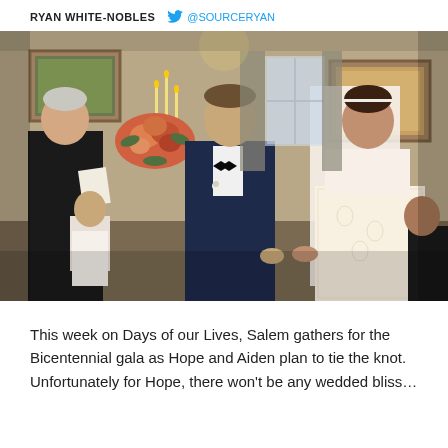RYAN WHITE-NOBLES  @SOURCERYAN
[Figure (photo): Wedding ceremony scene from Days of our Lives. An officiant in black reads from papers while a groom in a dark navy tuxedo with bow tie holds hands with a bride in a white lace gown with veil. Guests are seated in the background in a formal decorated room with candles and floral arrangements.]
This week on Days of our Lives, Salem gathers for the Bicentennial gala as Hope and Aiden plan to tie the knot. Unfortunately for Hope, there won't be any wedded bliss…